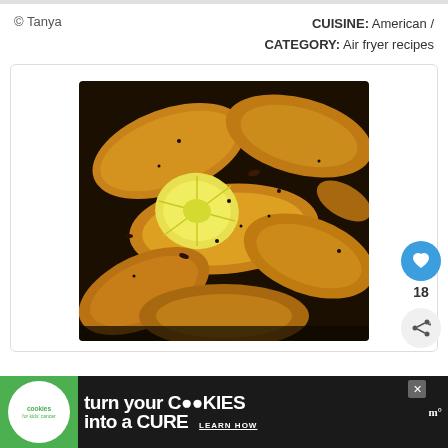© Tanya
CUISINE: American / CATEGORY: Air fryer recipes
[Figure (photo): Close-up photo of golden-brown air fryer chicken wings with a lemon slice in a black air fryer basket, seasoned with pepper and spices]
18
[Figure (infographic): Advertisement banner: cookies for kids cancer - turn your cookies into a cure - learn how]